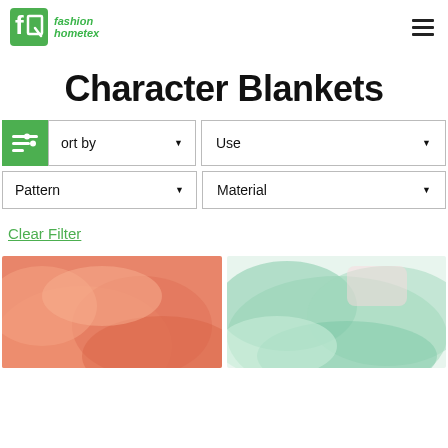Fashion Hometex — logo and navigation
Character Blankets
Sort by (dropdown), Use (dropdown), Pattern (dropdown), Material (dropdown)
Clear Filter
[Figure (photo): Coral/salmon colored character blanket product photo]
[Figure (photo): Mint/sage green colored blanket product photo]